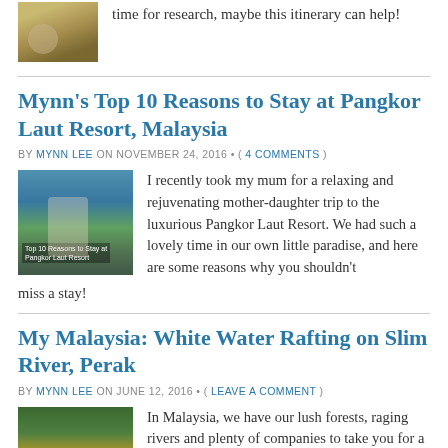time for research, maybe this itinerary can help!
Mynn’s Top 10 Reasons to Stay at Pangkor Laut Resort, Malaysia
BY MYNN LEE ON NOVEMBER 24, 2016 • ( 4 COMMENTS )
[Figure (photo): Photo thumbnail for Pangkor Laut Resort article]
I recently took my mum for a relaxing and rejuvenating mother-daughter trip to the luxurious Pangkor Laut Resort. We had such a lovely time in our own little paradise, and here are some reasons why you shouldn’t miss a stay!
My Malaysia: White Water Rafting on Slim River, Perak
BY MYNN LEE ON JUNE 12, 2016 • ( LEAVE A COMMENT )
[Figure (photo): Photo thumbnail for White Water Rafting article]
In Malaysia, we have our lush forests, raging rivers and plenty of companies to take you for a fun day out white water rafting. Here’s